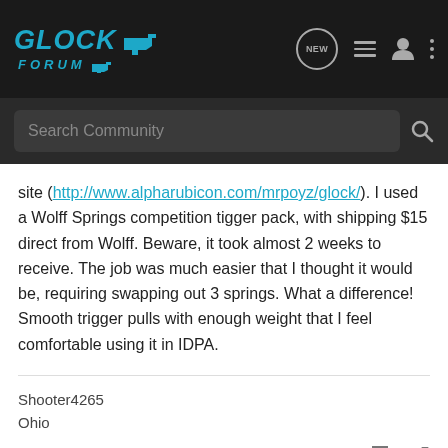[Figure (logo): Glock Forum logo with teal/cyan text and gun icon on dark background, plus navigation icons (NEW bubble, list, user, dots menu)]
[Figure (screenshot): Search Community search bar on dark background]
site (http://www.alpharubicon.com/mrpoyz/glock/). I used a Wolff Springs competition tigger pack, with shipping $15 direct from Wolff. Beware, it took almost 2 weeks to receive. The job was much easier that I thought it would be, requiring swapping out 3 springs. What a difference! Smooth trigger pulls with enough weight that I feel comfortable using it in IDPA.
Shooter4265
Ohio
Reply  Quote
SHOOTER13 · Banned
Joined Jan 19, 2012 · 14,133 Posts